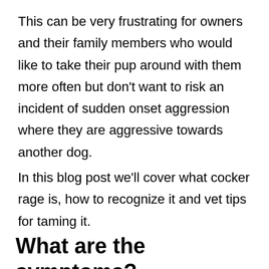This can be very frustrating for owners and their family members who would like to take their pup around with them more often but don't want to risk an incident of sudden onset aggression where they are aggressive towards another dog.
In this blog post we'll cover what cocker rage is, how to recognize it and vet tips for taming it.
What are the symptoms?